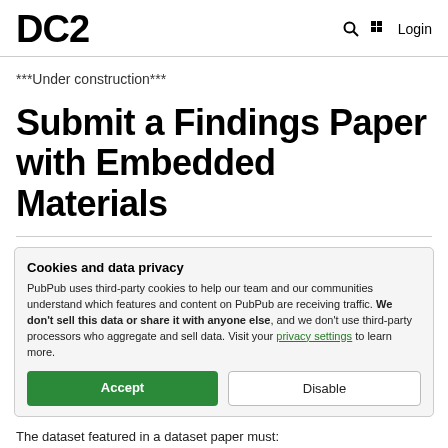DC2  Login
***Under construction***
Submit a Findings Paper with Embedded Materials
Cookies and data privacy
PubPub uses third-party cookies to help our team and our communities understand which features and content on PubPub are receiving traffic. We don't sell this data or share it with anyone else, and we don't use third-party processors who aggregate and sell data. Visit your privacy settings to learn more.
Accept  Disable
The dataset featured in a dataset paper must: